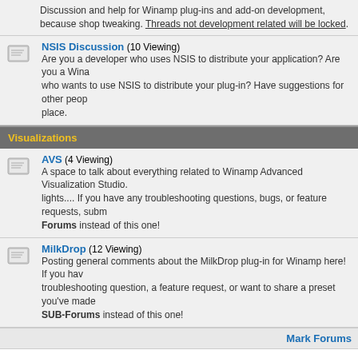Discussion and help for Winamp plug-ins and add-on development, because shop tweaking. Threads not development related will be locked.
NSIS Discussion (10 Viewing) - Are you a developer who uses NSIS to distribute your application? Are you a Winamp developer who wants to use NSIS to distribute your plug-in? Have suggestions for other people to share this place.
Visualizations
AVS (4 Viewing) - A space to talk about everything related to Winamp Advanced Visualization Studio. lights.... If you have any troubleshooting questions, bugs, or feature requests, submit to the SUB-Forums instead of this one!
MilkDrop (12 Viewing) - Posting general comments about the MilkDrop plug-in for Winamp here! If you have a troubleshooting question, a feature request, or want to share a preset you've made, please post to the SUB-Forums instead of this one!
Mark Forums
What's Going On?
Currently Active Users: 517 (11 members and 506 guests)
Most users ever online was 23,382, 4th June 2022 at 10:44. DJ Egg, karinauw69, kofplayer, malindald1, mitchelljm60, QOAL, Se7enSlasher, si
Winamp & Shoutcast Forums Statistics
Threads: 298,088, Posts: 2,876,013, Members: 200,752 Welcome to our newest member, z€r0